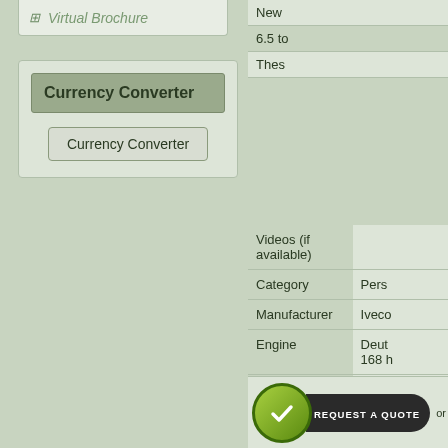Virtual Brochure
Currency Converter
Currency Converter (button)
New
6.5 to
Thes
| Field | Value |
| --- | --- |
| Videos (if available) |  |
| Category | Pers |
| Manufacturer | Iveco |
| Engine | Deut / 168 h |
| Gearbox | 6 spe |
| Brakes | Air ov |
| Steering | PAS |
| Tyres | 365/8 |
| Max Load | 5,000 |
| Electrics | 24 V |
REQUEST A QUOTE
or ca